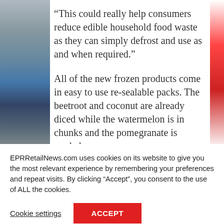[Figure (photo): Partial view of product packaging on the left and a red product on the right, serving as background image behind article text.]
“This could really help consumers reduce edible household food waste as they can simply defrost and use as and when required.”
All of the new frozen products come in easy to use re-sealable packs. The beetroot and coconut are already diced while the watermelon is in chunks and the pomegranate is seeded.
EPRRetailNews.com uses cookies on its website to give you the most relevant experience by remembering your preferences and repeat visits. By clicking “Accept”, you consent to the use of ALL the cookies.
Cookie settings
ACCEPT